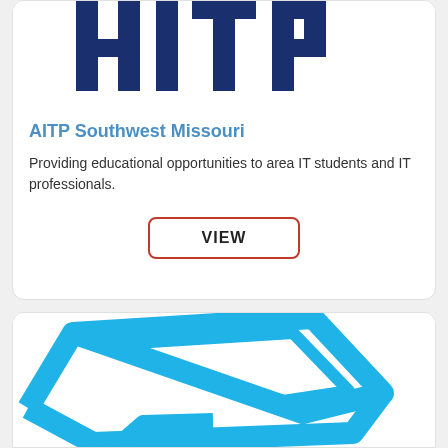[Figure (logo): Partial AITP logo at top of first card, dark blue letters cropped at top]
AITP Southwest Missouri
Providing educational opportunities to area IT students and IT professionals.
[Figure (other): Red-bordered VIEW button]
[Figure (logo): Partial blue outline logo/icon at bottom of page, second card, cropped]